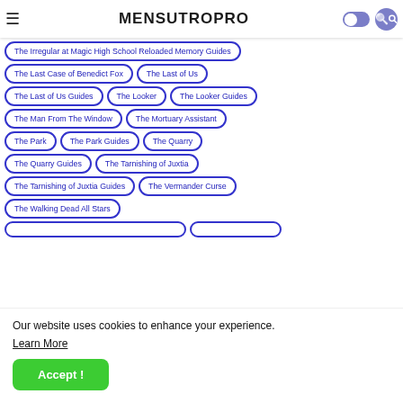MENSUTROPRO
The Irregular at Magic High School Reloaded Memory Guides
The Last Case of Benedict Fox
The Last of Us
The Last of Us Guides
The Looker
The Looker Guides
The Man From The Window
The Mortuary Assistant
The Park
The Park Guides
The Quarry
The Quarry Guides
The Tarnishing of Juxtia
The Tarnishing of Juxtia Guides
The Vermander Curse
The Walking Dead All Stars
Our website uses cookies to enhance your experience.
Learn More
Accept !